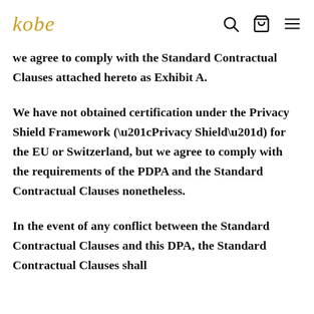kobe [logo] [search icon] [bag icon] [menu icon]
we agree to comply with the Standard Contractual Clauses attached hereto as Exhibit A.
We have not obtained certification under the Privacy Shield Framework (“Privacy Shield”) for the EU or Switzerland, but we agree to comply with the requirements of the PDPA and the Standard Contractual Clauses nonetheless.
In the event of any conflict between the Standard Contractual Clauses and this DPA, the Standard Contractual Clauses shall